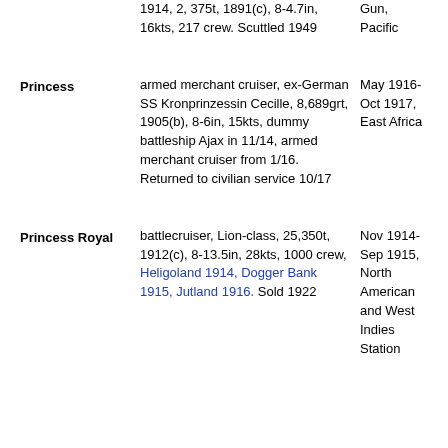1914, 2, 375t, 1891(c), 8-4.7in, 16kts, 217 crew. Scuttled 1949
Gun, Pacific
Princess
armed merchant cruiser, ex-German SS Kronprinzessin Cecille, 8,689grt, 1905(b), 8-6in, 15kts, dummy battleship Ajax in 11/14, armed merchant cruiser from 1/16. Returned to civilian service 10/17
May 1916-Oct 1917, East Africa
Princess Royal
battlecruiser, Lion-class, 25,350t, 1912(c), 8-13.5in, 28kts, 1000 crew, Heligoland 1914, Dogger Bank 1915, Jutland 1916. Sold 1922
Nov 1914-Sep 1915, North American and West Indies Station